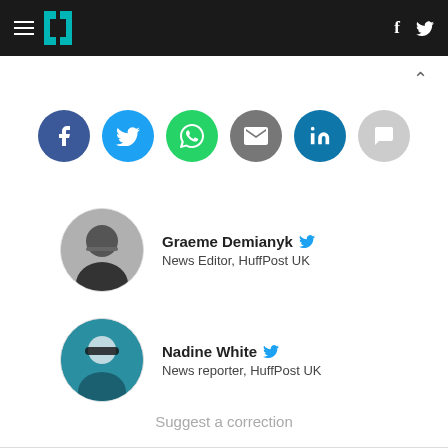HuffPost UK navigation bar with hamburger menu, logo, Facebook and Twitter icons
[Figure (infographic): Row of social sharing buttons: Facebook (dark blue), Twitter (light blue), WhatsApp (green), Email (grey), LinkedIn (teal), Comments (light grey)]
Graeme Demianyk [Twitter icon] News Editor, HuffPost UK
Nadine White [Twitter icon] News reporter, HuffPost UK
Suggest a correction